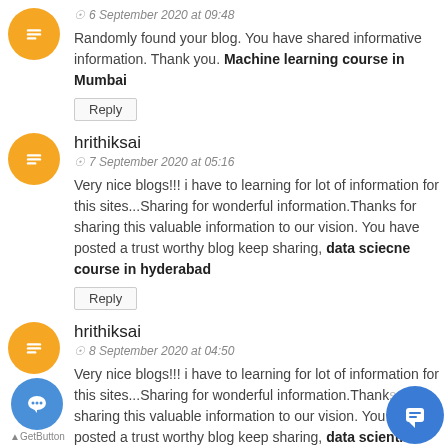[Figure (other): Orange blogger avatar icon, circular]
6 September 2020 at 09:48
Randomly found your blog. You have shared informative information. Thank you. Machine learning course in Mumbai
Reply
hrithiksai
[Figure (other): Orange blogger avatar icon, circular]
7 September 2020 at 05:16
Very nice blogs!!! i have to learning for lot of information for this sites...Sharing for wonderful information.Thanks for sharing this valuable information to our vision. You have posted a trust worthy blog keep sharing, data sciecne course in hyderabad
Reply
hrithiksai
[Figure (other): Orange blogger avatar icon, circular]
8 September 2020 at 04:50
Very nice blogs!!! i have to learning for lot of information for this sites...Sharing for wonderful information.Thanks for sharing this valuable information to our vision. You have posted a trust worthy blog keep sharing, data scientist course